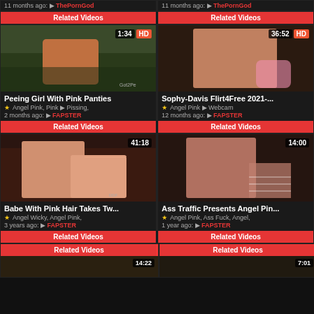11 months ago: ThePornGod
11 months ago: ThePornGod
Related Videos
Related Videos
[Figure (photo): Outdoor photo thumbnail, 1:34 HD]
[Figure (photo): Indoor photo thumbnail, 36:52 HD]
Peeing Girl With Pink Panties
Sophy-Davis Flirt4Free 2021-...
Angel Pink, Pink | Pissing,
Angel Pink | Webcam
2 months ago: FAPSTER
12 months ago: FAPSTER
Related Videos
Related Videos
[Figure (photo): Group scene thumbnail, 41:18]
[Figure (photo): Solo scene thumbnail, 14:00]
Babe With Pink Hair Takes Tw...
Ass Traffic Presents Angel Pin...
Angel Wicky, Angel Pink,
Angel Pink, Ass Fuck, Angel,
3 years ago: FAPSTER
1 year ago: FAPSTER
Related Videos
Related Videos
Related Videos
Related Videos